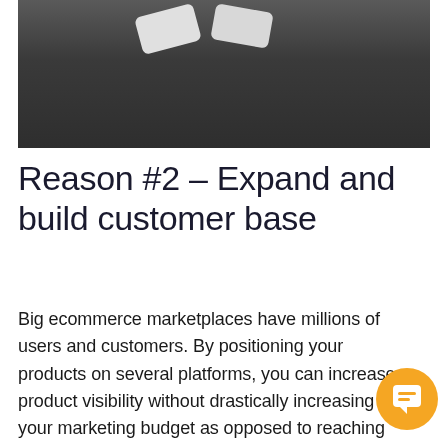[Figure (photo): Dark gray surface with two white rectangular keyboard-like tiles/keys partially visible at the top of the image]
Reason #2 – Expand and build customer base
Big ecommerce marketplaces have millions of users and customers. By positioning your products on several platforms, you can increase product visibility without drastically increasing your marketing budget as opposed to reaching potential buyers one by one or based on the location or interest. Furthermore, since big marketplaces have their mobile app, it is more